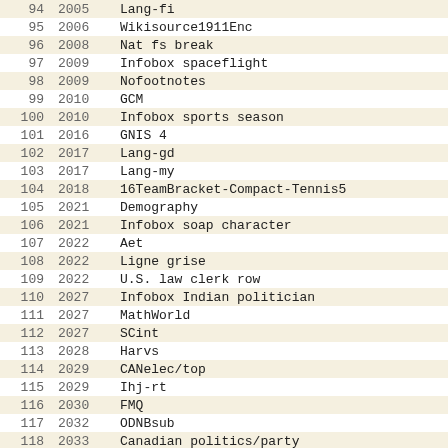| # | Year | Name |
| --- | --- | --- |
| 94 | 2005 | Lang-fi |
| 95 | 2006 | Wikisource1911Enc |
| 96 | 2008 | Nat fs break |
| 97 | 2009 | Infobox spaceflight |
| 98 | 2009 | Nofootnotes |
| 99 | 2010 | GCM |
| 100 | 2010 | Infobox sports season |
| 101 | 2016 | GNIS 4 |
| 102 | 2017 | Lang-gd |
| 103 | 2017 | Lang-my |
| 104 | 2018 | 16TeamBracket-Compact-Tennis5 |
| 105 | 2021 | Demography |
| 106 | 2021 | Infobox soap character |
| 107 | 2022 | Aet |
| 108 | 2022 | Ligne grise |
| 109 | 2022 | U.S. law clerk row |
| 110 | 2027 | Infobox Indian politician |
| 111 | 2027 | MathWorld |
| 112 | 2027 | SCint |
| 113 | 2028 | Harvs |
| 114 | 2029 | CANelec/top |
| 115 | 2029 | Ihj-rt |
| 116 | 2030 | FMQ |
| 117 | 2032 | ODNBsub |
| 118 | 2033 | Canadian politics/party |